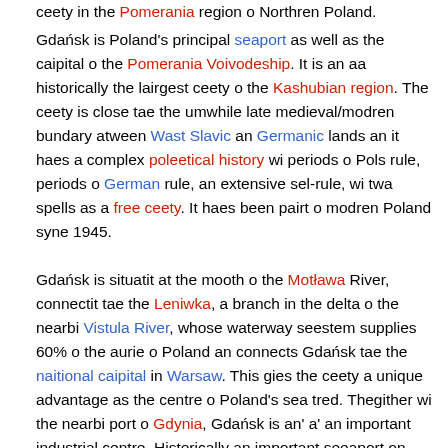ceety in the Pomerania region o Northren Poland.
Gdańsk is Poland's principal seaport as well as the caipital o the Pomerania Voivodeship. It is an aa historically the lairgest ceety o the Kashubian region. The ceety is close tae the umwhile late medieval/modren bundary atween Wast Slavic an Germanic lands an it haes a complex poleetical history wi periods o Pols rule, periods o German rule, an extensive sel-rule, wi twa spells as a free ceety. It haes been pairt o modren Poland syne 1945.
Gdańsk is situatit at the mooth o the Motława River, connectit tae the Leniwka, a branch in the delta o the nearbi Vistula River, whose waterway seestem supplies 60% o the aurie o Poland an connects Gdańsk tae the naitional caipital in Warsaw. This gies the ceety a unique advantage as the centre o Poland's sea tred. Thegither wi the nearbi port o Gdynia, Gdańsk is an' a' an important industrial centre. Historically an important seeaport on